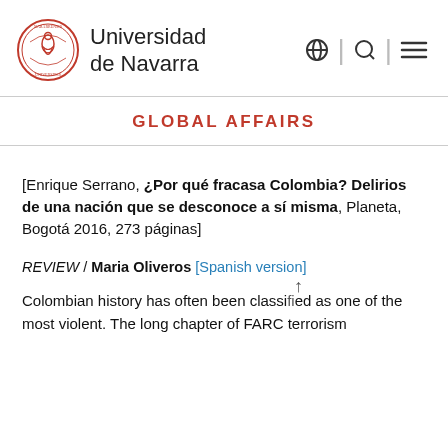Universidad de Navarra
GLOBAL AFFAIRS
[Enrique Serrano, ¿Por qué fracasa Colombia? Delirios de una nación que se desconoce a sí misma, Planeta, Bogotá 2016, 273 páginas]
REVIEW / Maria Oliveros [Spanish version]
Colombian history has often been classified as one of the most violent. The long chapter of FARC terrorism